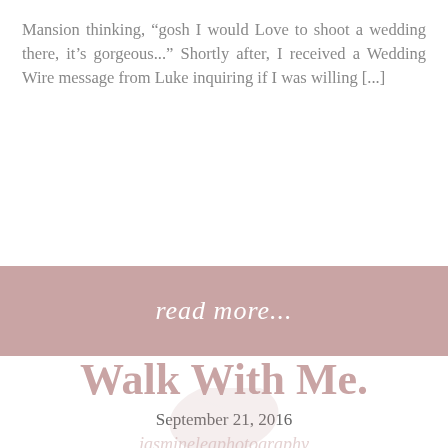Mansion thinking, “gosh I would Love to shoot a wedding there, it’s gorgeous...” Shortly after, I received a Wedding Wire message from Luke inquiring if I was willing [...]
[Figure (infographic): Dusty rose/mauve colored banner with italic white text reading 'read more...' and a faint leaf watermark on the right side]
Walk With Me.
September 21, 2016
jasmineleaphotography